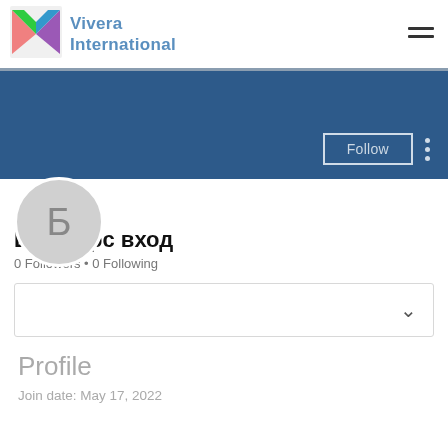Vivera International
[Figure (logo): Vivera International logo with a V shape in green, pink, blue, and purple on a square background]
[Figure (photo): Dark blue profile banner background]
[Figure (illustration): Circular avatar with Cyrillic letter Б on light grey background]
Битстарс вход
0 Followers • 0 Following
Profile
Join date: May 17, 2022